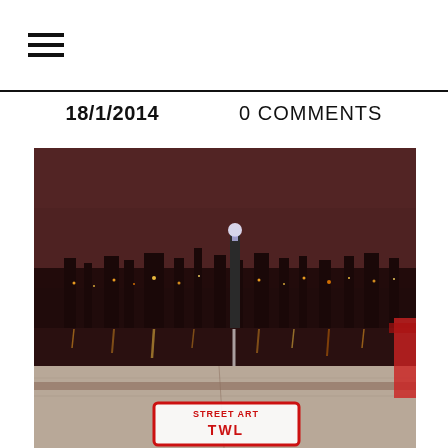☰ (hamburger menu icon)
18/1/2014    0 COMMENTS
[Figure (photo): Night cityscape photo showing a city skyline reflected in water, taken from a low angle near a concrete ledge. In the foreground is graffiti/sticker art reading what appears to be street art text. The sky has a deep reddish-brown hue from urban light pollution.]